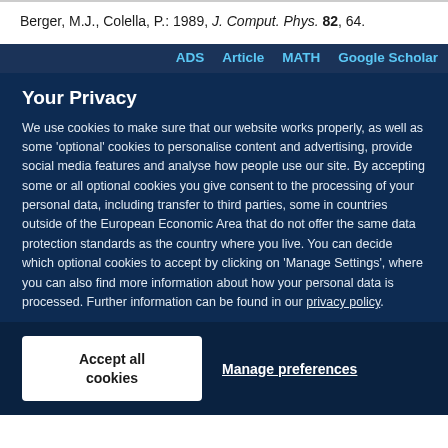Berger, M.J., Colella, P.: 1989, J. Comput. Phys. 82, 64.
ADS  Article  MATH  Google Scholar
Your Privacy
We use cookies to make sure that our website works properly, as well as some 'optional' cookies to personalise content and advertising, provide social media features and analyse how people use our site. By accepting some or all optional cookies you give consent to the processing of your personal data, including transfer to third parties, some in countries outside of the European Economic Area that do not offer the same data protection standards as the country where you live. You can decide which optional cookies to accept by clicking on 'Manage Settings', where you can also find more information about how your personal data is processed. Further information can be found in our privacy policy.
Accept all cookies
Manage preferences